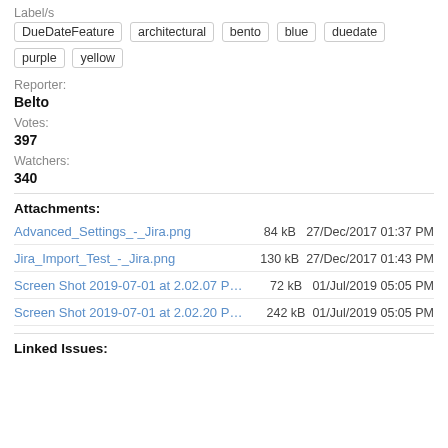Label/s
DueDateFeature
architectural
bento
blue
duedate
purple
yellow
Reporter:
Belto
Votes:
397
Watchers:
340
Attachments:
Advanced_Settings_-_Jira.png	84 kB	27/Dec/2017 01:37 PM
Jira_Import_Test_-_Jira.png	130 kB	27/Dec/2017 01:43 PM
Screen Shot 2019-07-01 at 2.02.07 PM.p...	72 kB	01/Jul/2019 05:05 PM
Screen Shot 2019-07-01 at 2.02.20 PM....	242 kB	01/Jul/2019 05:05 PM
Linked Issues: